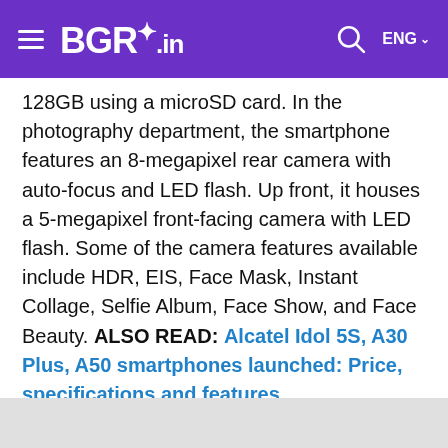BGR.in
128GB using a microSD card. In the photography department, the smartphone features an 8-megapixel rear camera with auto-focus and LED flash. Up front, it houses a 5-megapixel front-facing camera with LED flash. Some of the camera features available include HDR, EIS, Face Mask, Instant Collage, Selfie Album, Face Show, and Face Beauty. ALSO READ: Alcatel Idol 5S, A30 Plus, A50 smartphones launched: Price, specifications and features
Keeping the smartphone ticking is a 2,220mAh battery. Its connectivity options include dual-SIM support, 4G LTE, Wi-Fi, and Bluetooth. On the software front, the Alcatel U5 HD